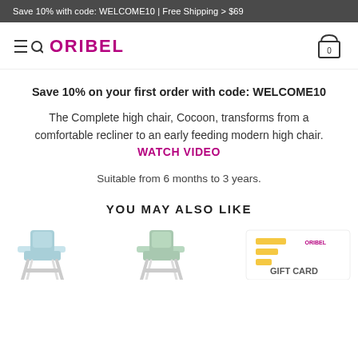Save 10% with code: WELCOME10 | Free Shipping > $69
[Figure (logo): Oribel brand logo with hamburger menu and search icon on the left, shopping bag icon on the right]
Save 10% on your first order with code: WELCOME10
The Complete high chair, Cocoon, transforms from a comfortable recliner to an early feeding modern high chair. WATCH VIDEO
Suitable from 6 months to 3 years.
YOU MAY ALSO LIKE
[Figure (photo): Three product images: blue high chair, green high chair, and Oribel gift card]